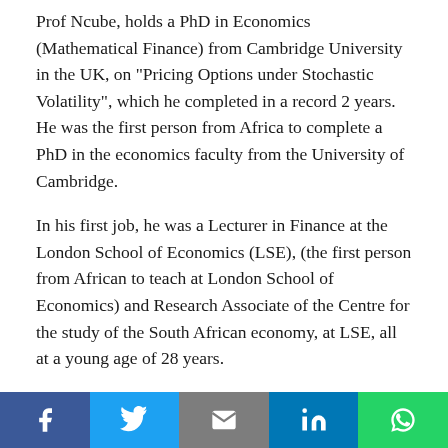Prof Ncube, holds a PhD in Economics (Mathematical Finance) from Cambridge University in the UK, on "Pricing Options under Stochastic Volatility", which he completed in a record 2 years. He was the first person from Africa to complete a PhD in the economics faculty from the University of Cambridge.
In his first job, he was a Lecturer in Finance at the London School of Economics (LSE), (the first person from African to teach at London School of Economics) and Research Associate of the Centre for the study of the South African economy, at LSE, all at a young age of 28 years.
Just before joining the African Development Bank, he was the Dean of the Faculty of Commerce Law and Management, and also Dean and Professor of Finance at Wits Business School, all at the University of Witwatersrand, in South Africa. He led Wits
Social share bar: Facebook, Twitter, Email, LinkedIn, WhatsApp